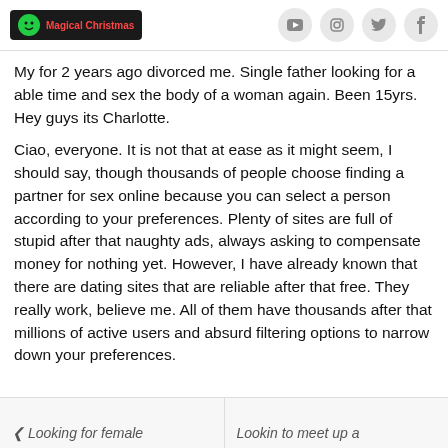Magical Christmas | social icons: YouTube, Instagram, Twitter, Facebook
My for 2 years ago divorced me. Single father looking for a able time and sex the body of a woman again. Been 15yrs. Hey guys its Charlotte.
Ciao, everyone. It is not that at ease as it might seem, I should say, though thousands of people choose finding a partner for sex online because you can select a person according to your preferences. Plenty of sites are full of stupid after that naughty ads, always asking to compensate money for nothing yet. However, I have already known that there are dating sites that are reliable after that free. They really work, believe me. All of them have thousands after that millions of active users and absurd filtering options to narrow down your preferences.
❮ Looking for female    Lookin to meet up a